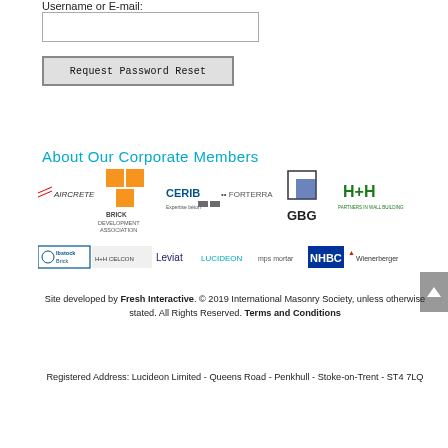Username or E-mail:
[input field]
Request Password Reset
About Our Corporate Members
[Figure (logo): Corporate member logos row 1: Aircrete, Brick Development Association, CERIB, Forterra, GBG, H+H]
[Figure (logo): Corporate member logos row 2: Ibstock Brick, H+H Celcon, Leviat, Lucideon, mps mortar, NHBC, Wienerberger]
Site developed by Fresh Interactive. © 2019 International Masonry Society, unless otherwise stated. All Rights Reserved. Terms and Conditions
Registered Address: Lucideon Limited - Queens Road - Penkhull - Stoke-on-Trent - ST4 7LQ